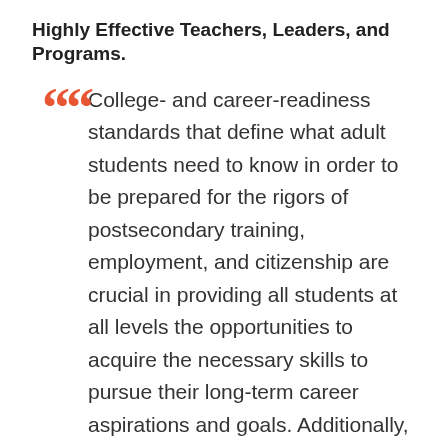Highly Effective Teachers, Leaders, and Programs.
College- and career-readiness standards that define what adult students need to know in order to be prepared for the rigors of postsecondary training, employment, and citizenship are crucial in providing all students at all levels the opportunities to acquire the necessary skills to pursue their long-term career aspirations and goals. Additionally, they provide a common vocabulary and shared understanding among educators and the business community to enhance cooperation and articulation between career